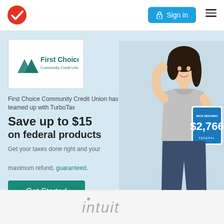Sign in | Navigation menu
[Figure (logo): Red circle with white checkmark — TurboTax/Intuit logo in navbar]
[Figure (logo): First Choice Community Credit Union logo inside white bordered box]
First Choice Community Credit Union has teamed up with TurboTax
Save up to $15 on federal products
Get your taxes done right and your maximum refund, guaranteed.
[Figure (photo): Smiling woman holding a tablet showing NICE REFUND! $2,766 FEDERAL]
Get Started
[Figure (logo): Intuit logo in gray italic text at bottom of page]